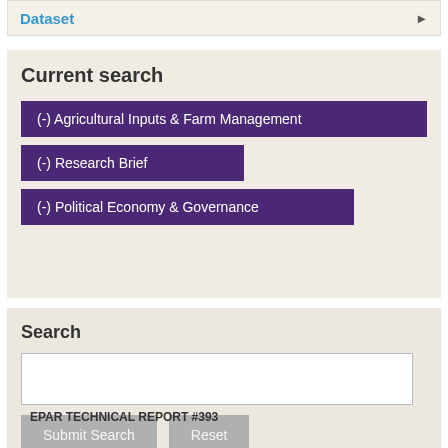Dataset
Current search
(-) Agricultural Inputs & Farm Management
(-) Research Brief
(-) Political Economy & Governance
Search
Submit Search  Reset
EPAR TECHNICAL REPORT #393